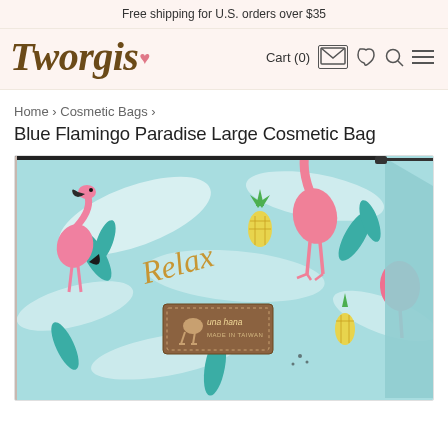Free shipping for U.S. orders over $35
[Figure (logo): Tworgis brand logo in brown italic script with a small pink heart]
Cart (0)
Home › Cosmetic Bags ›
Blue Flamingo Paradise Large Cosmetic Bag
[Figure (photo): A large cosmetic bag with a light blue background featuring pink flamingos, pineapples, and tropical leaves pattern. The word 'Relax' is written in gold script. A brown leather label reads 'una hana MADE IN TAIWAN'. The bag is shown at an angle displaying its depth and zipper closure.]